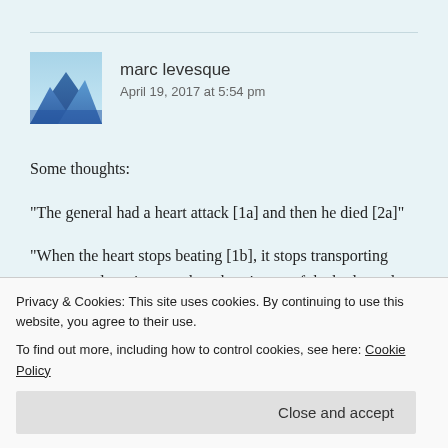[Figure (illustration): Avatar image showing mountain/landscape illustration with blue gradient, representing user marc levesque]
marc levesque
April 19, 2017 at 5:54 pm
Some thoughts:
“The general had a heart attack [1a] and then he died [2a]”
“When the heart stops beating [1b], it stops transporting oxygen and nutrients to the other tissues of the body, and they cease to function [2b]”
Privacy & Cookies: This site uses cookies. By continuing to use this website, you agree to their use.
To find out more, including how to control cookies, see here: Cookie Policy
Close and accept